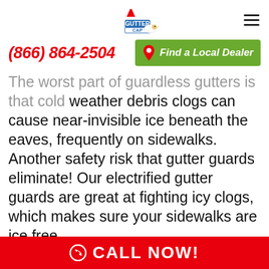[Figure (logo): Gutter Cap logo with Santa hat and bird mascot]
(866) 864-2504
Find a Local Dealer
The worst part of guardless gutters is that cold weather debris clogs can cause near-invisible ice beneath the eaves, frequently on sidewalks. Another safety risk that gutter guards eliminate! Our electrified gutter guards are great at fighting icy clogs, which makes sure your sidewalks are ice free.
Planning to see how our gutter guards prevent clogs?
CALL NOW!